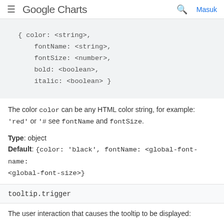Google Charts  Masuk
{ color: <string>,
    fontName: <string>,
    fontSize: <number>,
    bold: <boolean>,
    italic: <boolean> }
The color can be any HTML color string, for example: 'red' or '#00cc00'. Also see fontName and fontSize.
Type: object
Default: {color: 'black', fontName: <global-font-name>, fontSize: <global-font-size>}
tooltip.trigger
The user interaction that causes the tooltip to be displayed:
'focus' - The tooltip will be displayed when the user hovers over